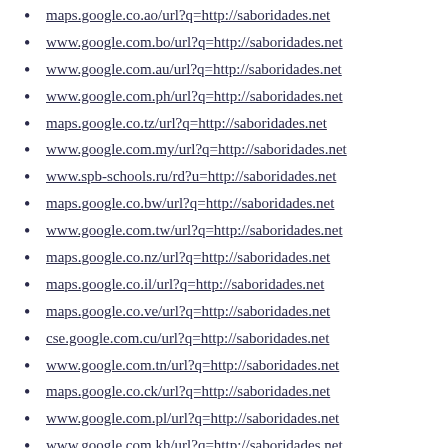maps.google.co.ao/url?q=http://saboridades.net
www.google.com.bo/url?q=http://saboridades.net
www.google.com.au/url?q=http://saboridades.net
www.google.com.ph/url?q=http://saboridades.net
maps.google.co.tz/url?q=http://saboridades.net
www.google.com.my/url?q=http://saboridades.net
www.spb-schools.ru/rd?u=http://saboridades.net
maps.google.co.bw/url?q=http://saboridades.net
www.google.com.tw/url?q=http://saboridades.net
maps.google.co.nz/url?q=http://saboridades.net
maps.google.co.il/url?q=http://saboridades.net
maps.google.co.ve/url?q=http://saboridades.net
cse.google.com.cu/url?q=http://saboridades.net
www.google.com.tn/url?q=http://saboridades.net
maps.google.co.ck/url?q=http://saboridades.net
www.google.com.pl/url?q=http://saboridades.net
www.google.com.kh/url?q=http://saboridades.net
www.google.com.mm/url?q=http://saboridades.net